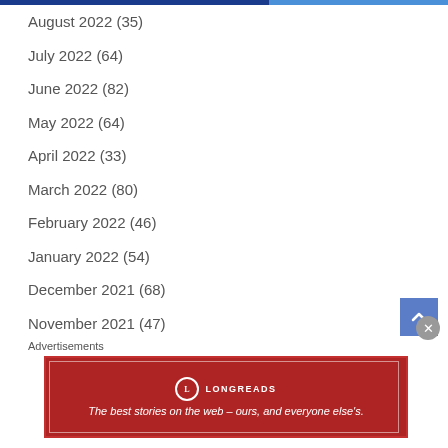August 2022 (35)
July 2022 (64)
June 2022 (82)
May 2022 (64)
April 2022 (33)
March 2022 (80)
February 2022 (46)
January 2022 (54)
December 2021 (68)
November 2021 (47)
October 2021 (63)
September 2021 (32)
Advertisements
[Figure (infographic): Longreads advertisement banner: red background with Longreads logo and tagline 'The best stories on the web – ours, and everyone else’s.']